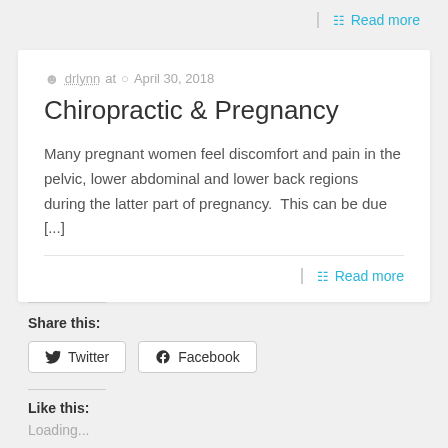Read more
Chiropractic & Pregnancy
drlynn at  April 30, 2018
Many pregnant women feel discomfort and pain in the pelvic, lower abdominal and lower back regions during the latter part of pregnancy.  This can be due [...]
Read more
Share this:
Twitter
Facebook
Like this:
Loading...